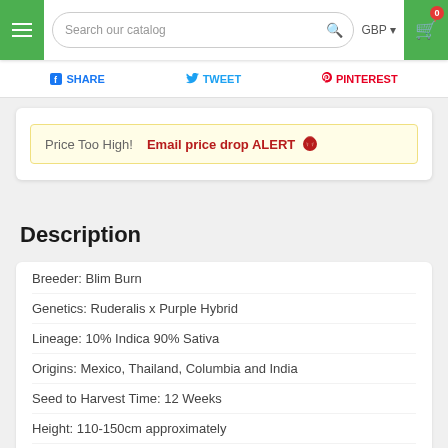Search our catalog | GBP | 0 cart items
SHARE  TWEET  PINTEREST
Price Too High!  Email price drop ALERT
Description
Breeder: Blim Burn
Genetics: Ruderalis x Purple Hybrid
Lineage: 10% Indica 90% Sativa
Origins: Mexico, Thailand, Columbia and India
Seed to Harvest Time: 12 Weeks
Height: 110-150cm approximately
Yields per m2: 400-500g